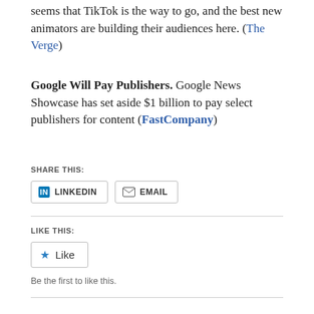seems that TikTok is the way to go, and the best new animators are building their audiences here. (The Verge)
Google Will Pay Publishers. Google News Showcase has set aside $1 billion to pay select publishers for content (FastCompany)
SHARE THIS:
[Figure (other): LINKEDIN and EMAIL share buttons]
LIKE THIS:
[Figure (other): Like button]
Be the first to like this.